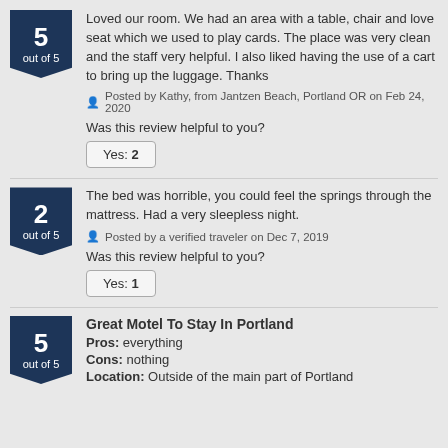Loved our room. We had an area with a table, chair and love seat which we used to play cards. The place was very clean and the staff very helpful. I also liked having the use of a cart to bring up the luggage. Thanks
Posted by Kathy, from Jantzen Beach, Portland OR on Feb 24, 2020
Was this review helpful to you?
Yes: 2
The bed was horrible, you could feel the springs through the mattress. Had a very sleepless night.
Posted by a verified traveler on Dec 7, 2019
Was this review helpful to you?
Yes: 1
Great Motel To Stay In Portland
Pros: everything
Cons: nothing
Location: Outside of the main part of Portland